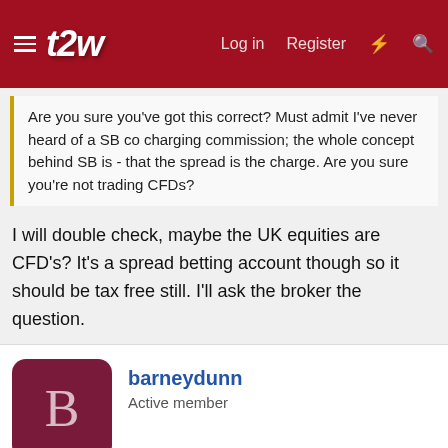t2w — Log in  Register
Are you sure you've got this correct? Must admit I've never heard of a SB co charging commission; the whole concept behind SB is - that the spread is the charge. Are you sure you're not trading CFDs?
I will double check, maybe the UK equities are CFD's? It's a spread betting account though so it should be tax free still. I'll ask the broker the question.
barneydunn
Active member
May 8, 2021
#10
I will post some charts later but to give you an idea I am basically buying at support in up trends with reasonable stops and just holding on, adding on if possible. I like breakouts too, basically if I think it will go up then I'm interested. That is I suppose based on experience of trading forex for several years